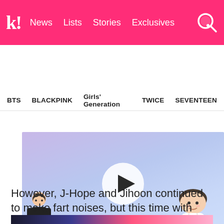k! News  Lists  Stories  Exclusives
BTS  BLACKPINK  Girls' Generation  TWICE  SEVENTEEN
[Figure (screenshot): Video thumbnail with play button showing animated BTS characters and subtitle 'Then that room's door opened slowly, and Namjoon came out']
However, J-Hope and Jihoon continued to make fart noises, but this time with other body parts, such as their armpits.
[Figure (photo): Bottom strip of another image, partially visible]